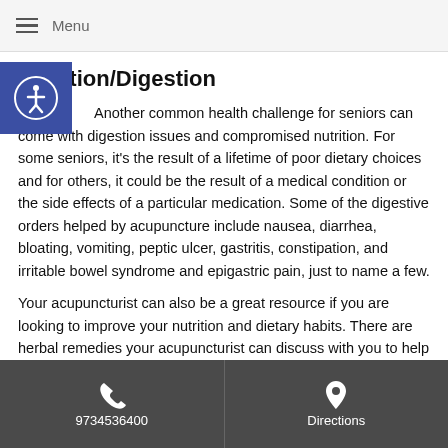Menu
Nutrition/Digestion
Another common health challenge for seniors can come with digestion issues and compromised nutrition. For some seniors, it's the result of a lifetime of poor dietary choices and for others, it could be the result of a medical condition or the side effects of a particular medication. Some of the digestive orders helped by acupuncture include nausea, diarrhea, bloating, vomiting, peptic ulcer, gastritis, constipation, and irritable bowel syndrome and epigastric pain, just to name a few.
Your acupuncturist can also be a great resource if you are looking to improve your nutrition and dietary habits. There are herbal remedies your acupuncturist can discuss with you to help you address deficiencies or allergies that could be impacting your diet.
9734536400   Directions